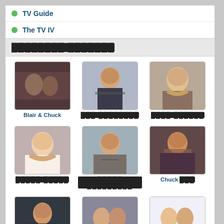TV Guide
The TV IV
████████ ███████
[Figure (photo): Grid of 9 Gossip Girl character/couple photos with captions: Blair & Chuck, ███ ████████, ████ ██████, █████ █████, █████ █████████, Chuck ███, ██ █████████, Boys of Gossip Girl, Girls of Gossip Girl]
████ ███████ >>